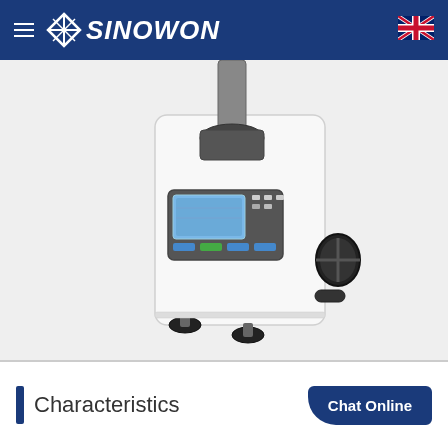[Figure (logo): Sinowon company logo in white text on dark blue navigation bar, with hamburger menu icon on left and UK flag icon on right]
[Figure (photo): Hardness testing machine (Vickers/Brinell hardness tester) in white casing with digital LCD display panel, control buttons, adjustment wheel on the right side, and rubber leveling feet at base. Industrial/scientific instrument on white background.]
Characteristics
Chat Online